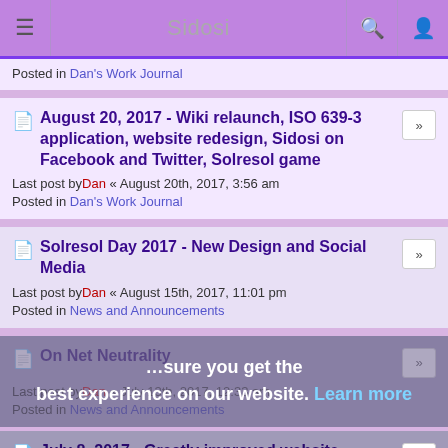Sidosi
Posted in Dan's Work Journal
August 20, 2017 - Wiki relaunch, ISO 639-3 application, website redesign, Sidosi on Facebook and Twitter, Solresol game
Last post by Dan « August 20th, 2017, 3:56 am
Posted in Dan's Work Journal
Solresol Day 2017 - New Design and Social Media
Last post by Dan « August 15th, 2017, 11:01 pm
Posted in News and Announcements
On Net Neutrality
Last post by Dan « July 13th, 2017, 12:33 am
Posted in News and Announcements
July 8, 2017 - Greatly improved website security (HTTPS, HSTS, CSP, XSS, etc.)
Last post by Dan « July 9th, 2017, 3:04 am
Posted in Dan's Work Journal